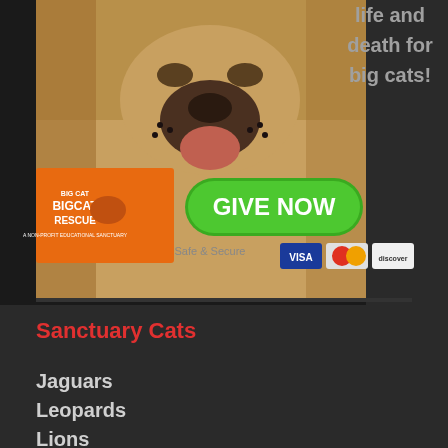[Figure (photo): Big Cat Rescue advertisement banner showing a close-up of a lion's face with text 'life and death for big cats!', a Big Cat Rescue logo, a green GIVE NOW button, and credit card payment icons (Visa, MasterCard, Discover) with 'Safe & Secure' text.]
Sanctuary Cats
Jaguars
Leopards
Lions
Tigers
Bobcats
Canada Lynx
Cougars
Ocelots
Savannah Cats
Servals